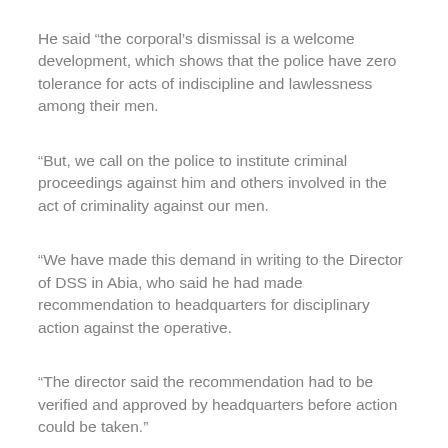He said “the corporal’s dismissal is a welcome development, which shows that the police have zero tolerance for acts of indiscipline and lawlessness among their men.
“But, we call on the police to institute criminal proceedings against him and others involved in the act of criminality against our men.
“We have made this demand in writing to the Director of DSS in Abia, who said he had made recommendation to headquarters for disciplinary action against the operative.
“The director said the recommendation had to be verified and approved by headquarters before action could be taken.”